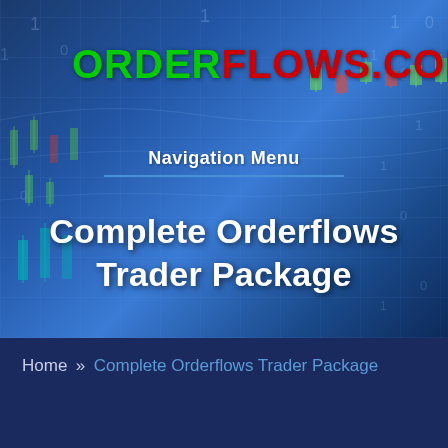[Figure (illustration): Financial trading background with world map, candlestick chart elements, digital numbers (0s and 1s), and blue gradient overlay for orderflows.com website header]
ORDERFLOWS.COM
Navigation Menu
Complete Orderflows Trader Package
Home » Complete Orderflows Trader Package